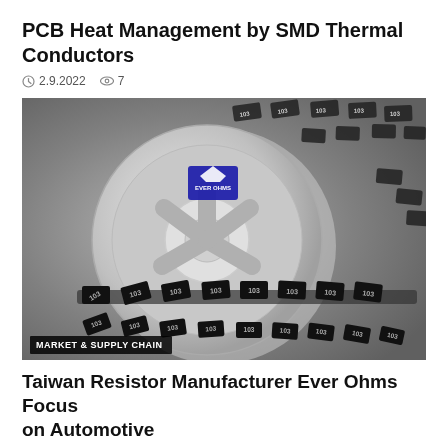PCB Heat Management by SMD Thermal Conductors
2.9.2022   7
[Figure (photo): SMD resistor reel with EVER OHMS logo, components labeled '103' scattered around, with 'MARKET & SUPPLY CHAIN' badge overlay]
Taiwan Resistor Manufacturer Ever Ohms Focus on Automotive